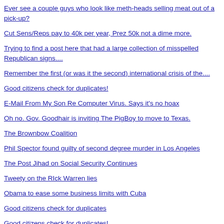Ever see a couple guys who look like meth-heads selling meat out of a pick-up?
Cut Sens/Reps pay to 40k per year, Prez 50k not a dime more.
Trying to find a post here that had a large collection of misspelled Republican signs....
Remember the first (or was it the second) international crisis of the....
Good citizens check for duplicates!
E-Mail From My Son Re Computer Virus. Says it's no hoax
Oh no. Gov. Goodhair is inviting The PigBoy to move to Texas.
The Brownbow Coalition
Phil Spector found guilty of second degree murder in Los Angeles
The Post Jihad on Social Security Continues
Tweety on the RIck Warren lies
Obama to ease some business limits with Cuba
Good citizens check for duplicates
Good citizens check for duplicates!
New rare orangutan population found in Borneo